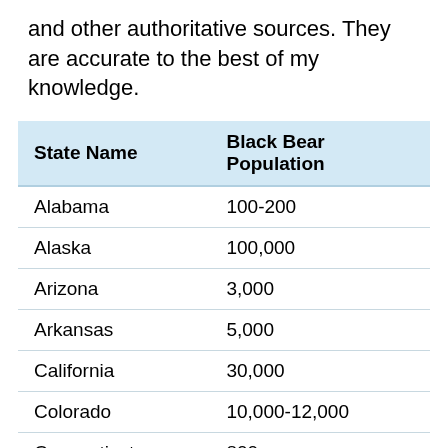and other authoritative sources. They are accurate to the best of my knowledge.
| State Name | Black Bear Population |
| --- | --- |
| Alabama | 100-200 |
| Alaska | 100,000 |
| Arizona | 3,000 |
| Arkansas | 5,000 |
| California | 30,000 |
| Colorado | 10,000-12,000 |
| Connecticut | 800 |
| Delaware | none |
| Florida | 4,000 |
| Georgia |  |